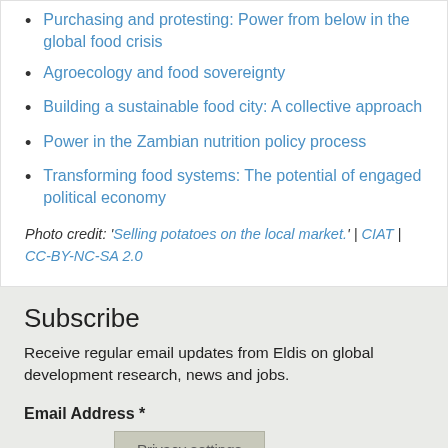Purchasing and protesting: Power from below in the global food crisis
Agroecology and food sovereignty
Building a sustainable food city: A collective approach
Power in the Zambian nutrition policy process
Transforming food systems: The potential of engaged political economy
Photo credit: 'Selling potatoes on the local market.' | CIAT | CC-BY-NC-SA 2.0
Subscribe
Receive regular email updates from Eldis on global development research, news and jobs.
Email Address *
Privacy settings
We use cookies to enable us to see how this website is being used. This helps us to ensure that the website is user-friendly and that you're able to access the information you need easily.